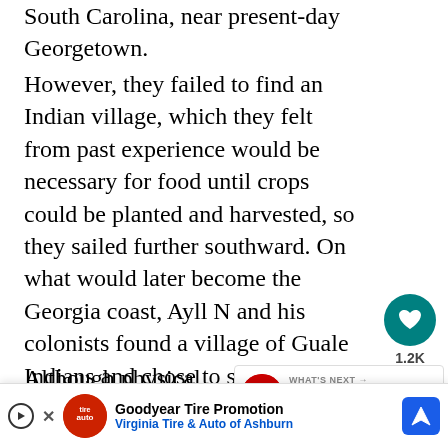South Carolina, near present-day Georgetown.
However, they failed to find an Indian village, which they felt from past experience would be necessary for food until crops could be planted and harvested, so they sailed further southward. On what would later become the Georgia coast, Ayll N and his colonists found a village of Guale Indians and chose to settle nearby.
Although physical remains of their settlement have not been found, historians and geographers have utilized surviving navigation logs...